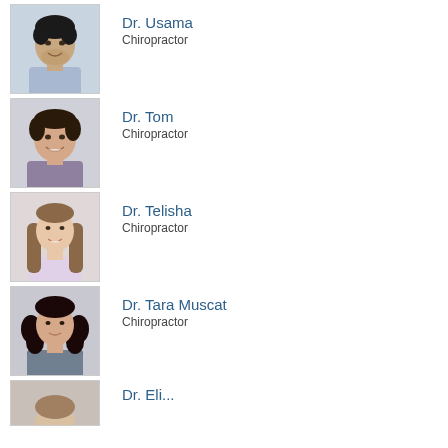[Figure (photo): Headshot of Dr. Usama, young man with dark hair, wearing blue shirt]
Dr. Usama
Chiropractor
[Figure (photo): Headshot of Dr. Tom, man with dark hair, wearing purple shirt, smiling]
Dr. Tom
Chiropractor
[Figure (photo): Headshot of Dr. Telisha, young woman with long brown hair, wearing light pink top, smiling]
Dr. Telisha
Chiropractor
[Figure (photo): Headshot of Dr. Tara Muscat, woman with curly dark hair, wearing gray top]
Dr. Tara Muscat
Chiropractor
[Figure (photo): Partial headshot of another doctor, only top of head visible at bottom of page]